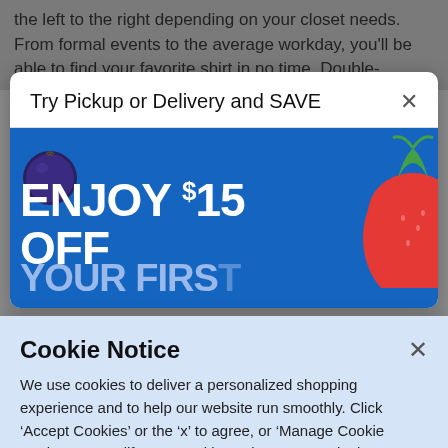the left to the right depending on your closet needs. From formal events to the average workday, you'll be able to find your favorite shirt in no time. Double-
Try Pickup or Delivery and SAVE
[Figure (infographic): Blue promotional banner with blueberry on left and strawberry on right. Large white bold text reads 'ENJOY $15 OFF' and partial text 'YOUR FIRST' below in lighter blue.]
Cookie Notice
We use cookies to deliver a personalized shopping experience and to help our website run smoothly. Click 'Accept Cookies' or the 'x' to agree, or 'Manage Cookie Settings' to modify your cookie settings. By continuing to use this site you agree to the cookie settings.
Manage Cookie Settings
Accept Cookies